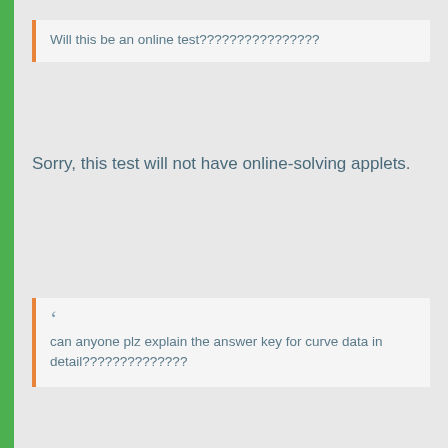Will this be an online test????????????????
Sorry, this test will not have online-solving applets.
can anyone plz explain the answer key for curve data in detail??????????????